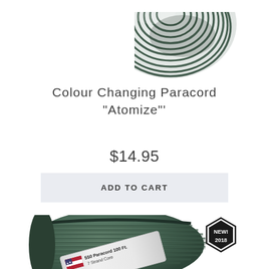[Figure (photo): Green/grey paracord coil bundle shown from above, partially cropped at top of page]
Colour Changing Paracord "Atomize"'
$14.95
ADD TO CART
[Figure (photo): Green paracord bundle/coil with a label reading '550 Paracord 100 Ft. 7 Strand Core, Made in the U.S.A.' with US flag, and a hexagonal 'NEW! 2018' badge in the upper right]